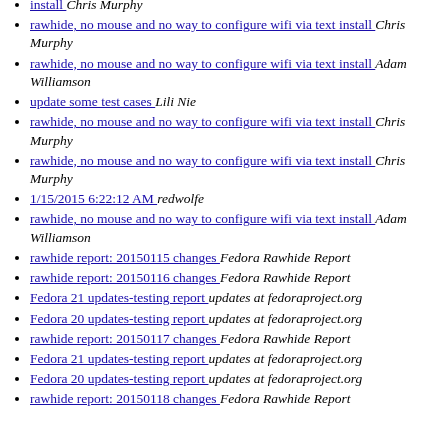rawhide, no mouse and no way to configure wifi via text install  Chris Murphy
rawhide, no mouse and no way to configure wifi via text install  Chris Murphy
rawhide, no mouse and no way to configure wifi via text install  Adam Williamson
update some test cases  Lili Nie
rawhide, no mouse and no way to configure wifi via text install  Chris Murphy
rawhide, no mouse and no way to configure wifi via text install  Chris Murphy
1/15/2015 6:22:12 AM  redwolfe
rawhide, no mouse and no way to configure wifi via text install  Adam Williamson
rawhide report: 20150115 changes  Fedora Rawhide Report
rawhide report: 20150116 changes  Fedora Rawhide Report
Fedora 21 updates-testing report  updates at fedoraproject.org
Fedora 20 updates-testing report  updates at fedoraproject.org
rawhide report: 20150117 changes  Fedora Rawhide Report
Fedora 21 updates-testing report  updates at fedoraproject.org
Fedora 20 updates-testing report  updates at fedoraproject.org
rawhide report: 20150118 changes  Fedora Rawhide Report